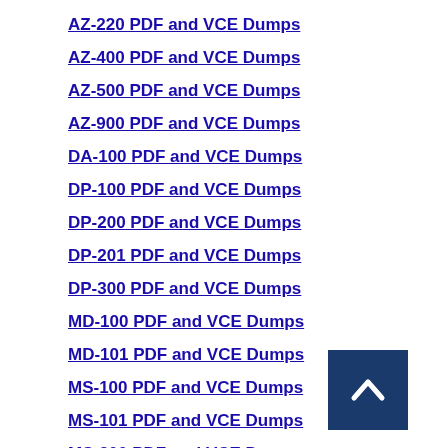AZ-220 PDF and VCE Dumps
AZ-400 PDF and VCE Dumps
AZ-500 PDF and VCE Dumps
AZ-900 PDF and VCE Dumps
DA-100 PDF and VCE Dumps
DP-100 PDF and VCE Dumps
DP-200 PDF and VCE Dumps
DP-201 PDF and VCE Dumps
DP-300 PDF and VCE Dumps
MD-100 PDF and VCE Dumps
MD-101 PDF and VCE Dumps
MS-100 PDF and VCE Dumps
MS-101 PDF and VCE Dumps
MS-200 PDF and VCE Dumps
MS-201 PDF and VCE Dumps
[Figure (other): Back to top button — dark blue square with white upward chevron arrow]